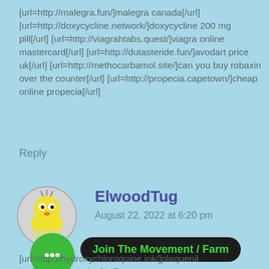[url=http://malegra.fun/]malegra canada[/url] [url=http://doxycycline.network/]doxycycline 200 mg pill[/url] [url=http://viagrahtabs.quest/]viagra online mastercard[/url] [url=http://dutasteride.fun/]avodart price uk[/url] [url=http://methocarbamol.site/]can you buy robaxin over the counter[/url] [url=http://propecia.capetown/]cheap online propecia[/url]
Reply
ElwoodTug
August 22, 2022 at 6:20 pm
Join The Movement / Farm
[url=http://hydroxychloroquine.ink/]plaquenil hydroxychloroquine[/url]